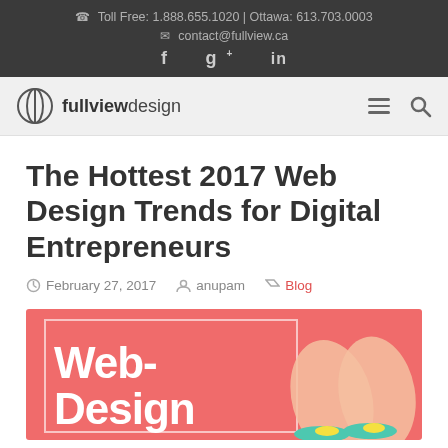☎ Toll Free: 1.888.655.1020 | Ottawa: 613.703.0003
✉ contact@fullview.ca
f g+ in
[Figure (logo): Fullview Design logo with circular icon and text 'fullview design', plus hamburger menu and search icon]
The Hottest 2017 Web Design Trends for Digital Entrepreneurs
February 27, 2017   anupam   Blog
[Figure (illustration): Coral/salmon pink background hero image with white bold text 'Web-Design' partially visible, a white rectangular border overlay, and a person's legs wearing colorful sandals on the right side]